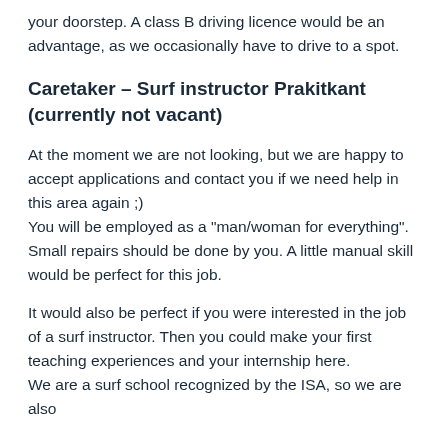your doorstep. A class B driving licence would be an advantage, as we occasionally have to drive to a spot.
Caretaker – Surf instructor Prakitkant (currently not vacant)
At the moment we are not looking, but we are happy to accept applications and contact you if we need help in this area again ;)
You will be employed as a "man/woman for everything". Small repairs should be done by you. A little manual skill would be perfect for this job.
It would also be perfect if you were interested in the job of a surf instructor. Then you could make your first teaching experiences and your internship here.
We are a surf school recognized by the ISA, so we are also